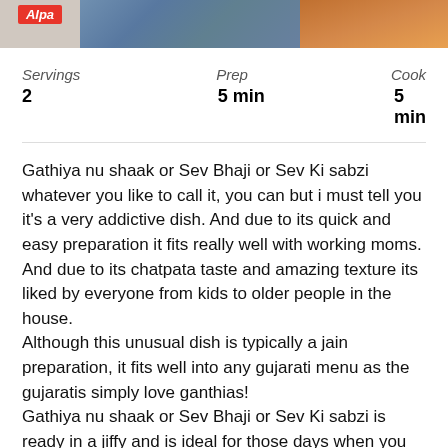[Figure (photo): Top strip showing an Alpa logo on left, colorful fabric/textile in center, and food (corn/snack dish) on right.]
| Servings | Prep | Cook |
| --- | --- | --- |
| 2 | 5 min | 5 min |
Gathiya nu shaak or Sev Bhaji or Sev Ki sabzi whatever you like to call it, you can but i must tell you it's a very addictive dish. And due to its quick and easy preparation it fits really well with working moms. And due to its chatpata taste and amazing texture its liked by everyone from kids to older people in the house.
Although this unusual dish is typically a jain preparation, it fits well into any gujarati menu as the gujaratis simply love ganthias!
Gathiya nu shaak or Sev Bhaji or Sev Ki sabzi is ready in a jiffy and is ideal for those days when you need to cook in a hurry, or